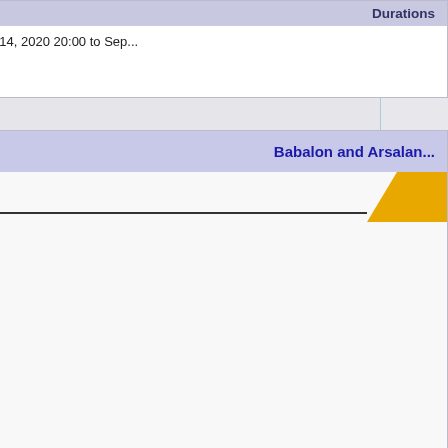Durations
Duration   September 14, 2020 20:00 to Sep...
Babalon and Arsalan...
[Figure (illustration): Partial view of an anime/manga style illustration with a yellow tab element and a horizontal separator line]
Durations
Duration   September 24, 2020 18:00 to Sep...
Surtr and Eita Da...
[Figure (illustration): Anime/manga style illustration with Japanese text and colorful characters, yellow tab element]